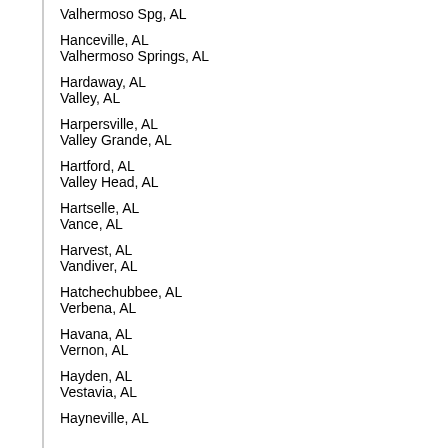Valhermoso Spg, AL
Hanceville, AL
Valhermoso Springs, AL
Hardaway, AL
Valley, AL
Harpersville, AL
Valley Grande, AL
Hartford, AL
Valley Head, AL
Hartselle, AL
Vance, AL
Harvest, AL
Vandiver, AL
Hatchechubbee, AL
Verbena, AL
Havana, AL
Vernon, AL
Hayden, AL
Vestavia, AL
Hayneville, AL